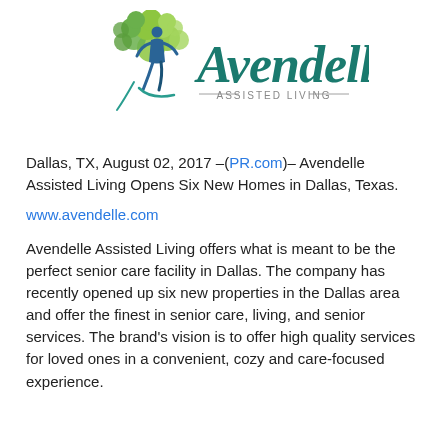[Figure (logo): Avendelle Assisted Living logo: green tree with person silhouette on left, teal 'Avendelle' script text on right, 'ASSISTED LIVING' in smaller caps below]
Dallas, TX, August 02, 2017 –(PR.com)– Avendelle Assisted Living Opens Six New Homes in Dallas, Texas.
www.avendelle.com
Avendelle Assisted Living offers what is meant to be the perfect senior care facility in Dallas. The company has recently opened up six new properties in the Dallas area and offer the finest in senior care, living, and senior services. The brand's vision is to offer high quality services for loved ones in a convenient, cozy and care-focused experience.